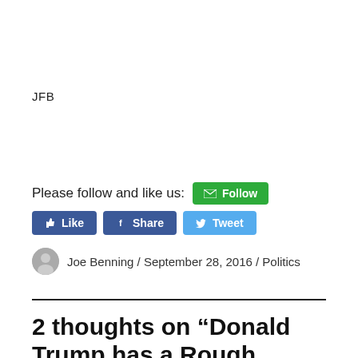JFB
Please follow and like us:
Joe Benning / September 28, 2016 / Politics
2 thoughts on “Donald Trump has a Rough Night, Deservedly